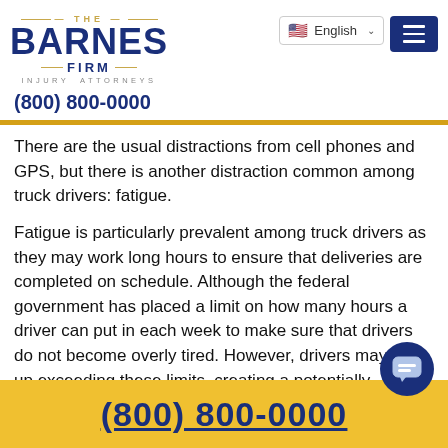[Figure (logo): The Barnes Firm Injury Attorneys logo with gold decorative lines and blue text]
[Figure (screenshot): English language selector dropdown with US flag and chevron, and a blue hamburger menu button]
(800) 800-0000
There are the usual distractions from cell phones and GPS, but there is another distraction common among truck drivers: fatigue.
Fatigue is particularly prevalent among truck drivers as they may work long hours to ensure that deliveries are completed on schedule. Although the federal government has placed a limit on how many hours a driver can put in each week to make sure that drivers do not become overly tired. However, drivers may end up exceeding these limits, creating a potentially dangerous situation if they are unable to focu
(800) 800-0000